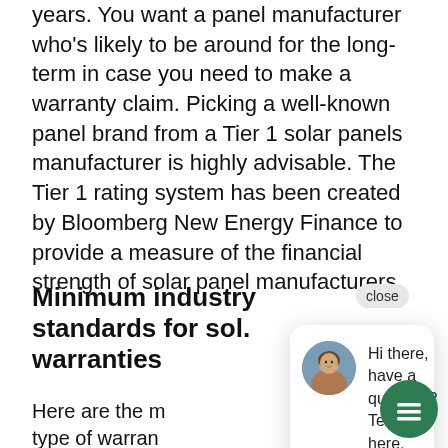years. You want a panel manufacturer who's likely to be around for the long-term in case you need to make a warranty claim. Picking a well-known panel brand from a Tier 1 solar panels manufacturer is highly advisable. The Tier 1 rating system has been created by Bloomberg New Energy Finance to provide a measure of the financial strength of solar panel manufacturers.
Minimum industry standards for sol... warranties
[Figure (other): Chat popup widget with avatar photo of a woman and text: 'Hi there, have a question? Text us here.' with a close button and green chat button.]
Here are the m... type of warran...
| Warranty type | Industry standard: minimum warranties |
| --- | --- |
| Solar inverter | 5 years, |